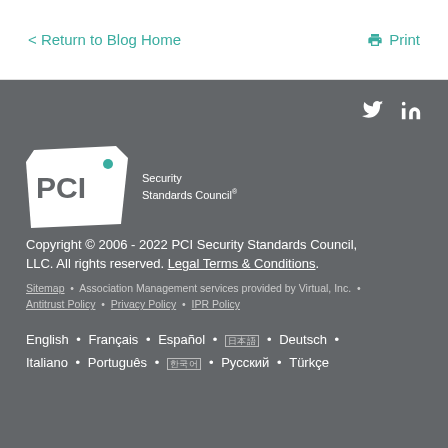< Return to Blog Home    Print
[Figure (logo): PCI Security Standards Council logo with shield shape and text]
Copyright © 2006 - 2022 PCI Security Standards Council, LLC. All rights reserved. Legal Terms & Conditions.
Sitemap • Association Management services provided by Virtual, Inc. •
Antitrust Policy • Privacy Policy • IPR Policy
English • Français • Español • [日本語] • Deutsch • Italiano • Português • [한국어] • Русский • Türkçe